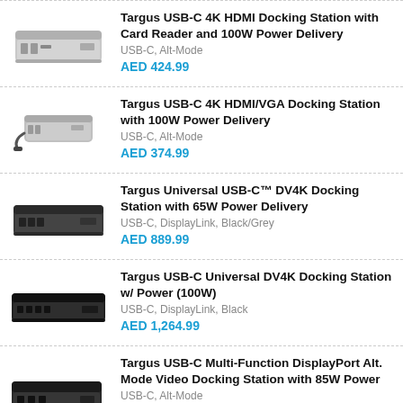[Figure (photo): Targus USB-C 4K HDMI Docking Station with Card Reader and 100W Power Delivery - silver/grey compact docking station]
Targus USB-C 4K HDMI Docking Station with Card Reader and 100W Power Delivery
USB-C, Alt-Mode
AED 424.99
[Figure (photo): Targus USB-C 4K HDMI/VGA Docking Station with 100W Power Delivery - silver compact docking station with cable]
Targus USB-C 4K HDMI/VGA Docking Station with 100W Power Delivery
USB-C, Alt-Mode
AED 374.99
[Figure (photo): Targus Universal USB-C DV4K Docking Station with 65W Power Delivery - dark grey/black docking station]
Targus Universal USB-C™ DV4K Docking Station with 65W Power Delivery
USB-C, DisplayLink, Black/Grey
AED 889.99
[Figure (photo): Targus USB-C Universal DV4K Docking Station w/ Power (100W) - black docking station]
Targus USB-C Universal DV4K Docking Station w/ Power (100W)
USB-C, DisplayLink, Black
AED 1,264.99
[Figure (photo): Targus USB-C Multi-Function DisplayPort Alt. Mode Video Docking Station with 85W Power - dark docking station]
Targus USB-C Multi-Function DisplayPort Alt. Mode Video Docking Station with 85W Power
USB-C, Alt-Mode